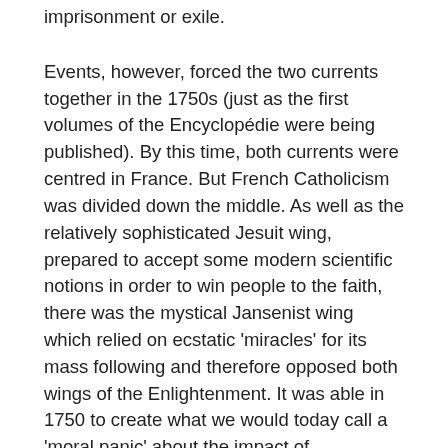imprisonment or exile.
Events, however, forced the two currents together in the 1750s (just as the first volumes of the Encyclopédie were being published). By this time, both currents were centred in France. But French Catholicism was divided down the middle. As well as the relatively sophisticated Jesuit wing, prepared to accept some modern scientific notions in order to win people to the faith, there was the mystical Jansenist wing which relied on ecstatic 'miracles' for its mass following and therefore opposed both wings of the Enlightenment. It was able in 1750 to create what we would today call a 'moral panic' about the impact of supposedly Spinozist texts, forcing the Jesuits and the Royal Court to turn against not just the radical Enlightenment but the Voltairians as well. The Encyclopédie was briefly banned and Diderot got a short